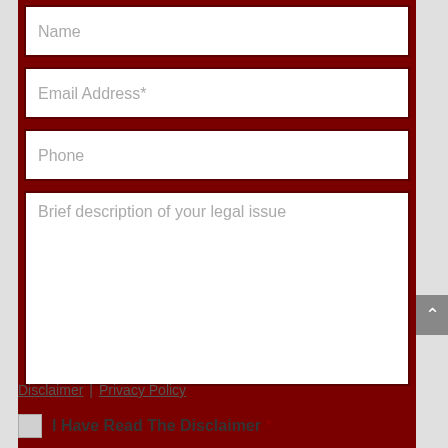Name
Email Address*
Phone
Brief description of your legal issue
Disclaimer | Privacy Policy
I Have Read The Disclaimer *